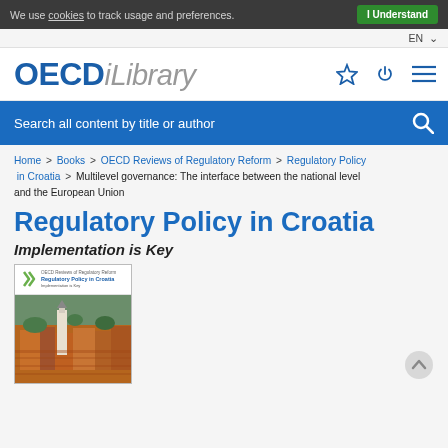We use cookies to track usage and preferences. I Understand
EN
[Figure (logo): OECD iLibrary logo with star, power, and menu icons]
Search all content by title or author
Home > Books > OECD Reviews of Regulatory Reform > Regulatory Policy in Croatia > Multilevel governance: The interface between the national level and the European Union
Regulatory Policy in Croatia
Implementation is Key
[Figure (photo): Book cover of Regulatory Policy in Croatia showing aerial view of a European town with red-roofed buildings and a church, with OECD logo]